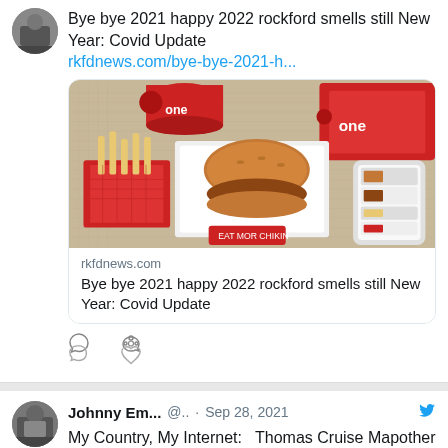Bye bye 2021 happy 2022 rockford smells still New Year: Covid Update
rkfdnews.com/bye-bye-2021-h...
[Figure (photo): Chick-fil-A food spread: sandwich/burger, waffle fries in a box, red cups with 'one' branding, a smartphone showing menu, all on a woven mat background]
rkfdnews.com
Bye bye 2021 happy 2022 rockford smells still New Year: Covid Update
Johnny Em... @.. · Sep 28, 2021
My Country, My Internet:   Thomas Cruise Mapother The IVth and Matiéu Damóne (Episode 4), by
@AndyMarshall